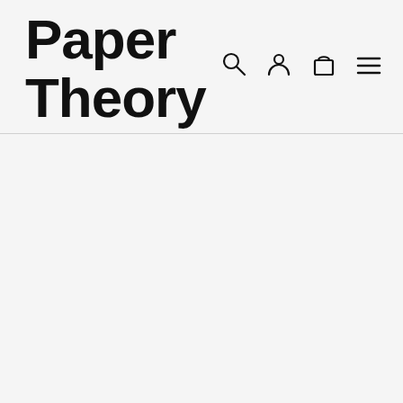Paper Theory
[Figure (illustration): Navigation icons: search (magnifying glass), account (person silhouette), cart (shopping bag), and menu (hamburger three lines)]